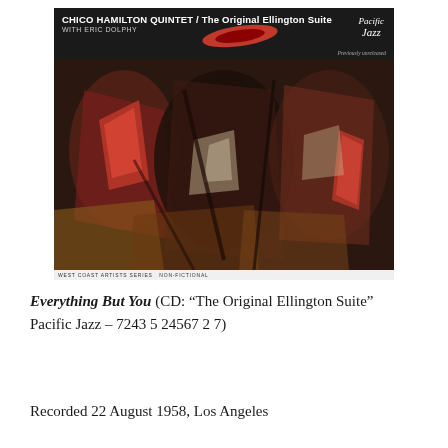[Figure (illustration): Album cover for Chico Hamilton Quintet 'The Original Ellington Suite' with Eric Dolphy on Pacific Jazz label. Top band is dark/black with white text showing artist and album name, red swoosh graphic, and Pacific Jazz logo. Main image is an abstract painterly artwork with dark browns, reds, and earth tones in the West Coast Artists Series.]
Everything But You (CD: “The Original Ellington Suite” Pacific Jazz – 7243 5 24567 2 7)
Recorded 22 August 1958, Los Angeles